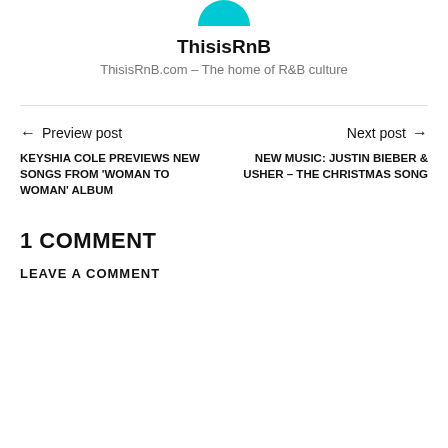[Figure (illustration): Teal/cyan semicircle avatar icon at the top center of the page]
ThisisRnB
ThisisRnB.com – The home of R&B culture
← Preview post   Next post →
KEYSHIA COLE PREVIEWS NEW SONGS FROM 'WOMAN TO WOMAN' ALBUM
NEW MUSIC: JUSTIN BIEBER & USHER – THE CHRISTMAS SONG
1 COMMENT
LEAVE A COMMENT